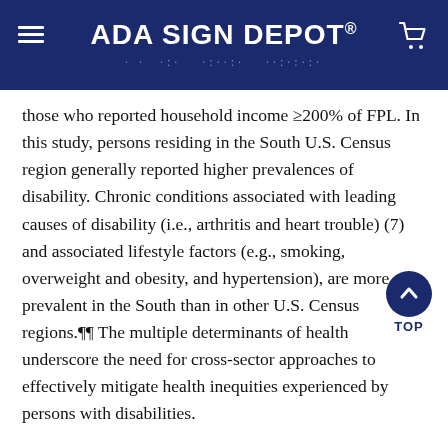ADA SIGN DEPOT®
those who reported household income ≥200% of FPL. In this study, persons residing in the South U.S. Census region generally reported higher prevalences of disability. Chronic conditions associated with leading causes of disability (i.e., arthritis and heart trouble) (7) and associated lifestyle factors (e.g., smoking, overweight and obesity, and hypertension), are more prevalent in the South than in other U.S. Census regions.¶¶ The multiple determinants of health underscore the need for cross-sector approaches to effectively mitigate health inequities experienced by persons with disabilities.
Similar to previous research (8,9), this analysis identified disability-specific disparities in health care access, particularly among young and middle-aged adults. Disability-specific factors, such as severity of disability, age at disability onset, or